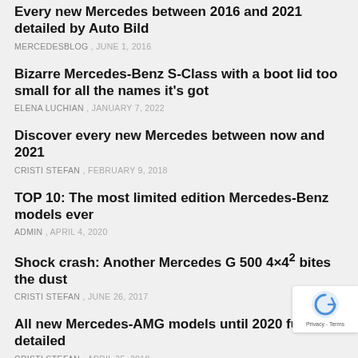Every new Mercedes between 2016 and 2021 detailed by Auto Bild
MERCEDESBLOG , JUNE 1, 2016
Bizarre Mercedes-Benz S-Class with a boot lid too small for all the names it's got
ELENA LUCHIAN , JANUARY 7, 2022
Discover every new Mercedes between now and 2021
CRISTI STEFAN , FEBRUARY 9, 2018
TOP 10: The most limited edition Mercedes-Benz models ever
ADMIN , APRIL 4, 2020
Shock crash: Another Mercedes G 500 4×4² bites the dust
CRISTI STEFAN , JUNE 26, 2017
All new Mercedes-AMG models until 2020 fully detailed
CRISTI STEFAN , APRIL 25, 2018